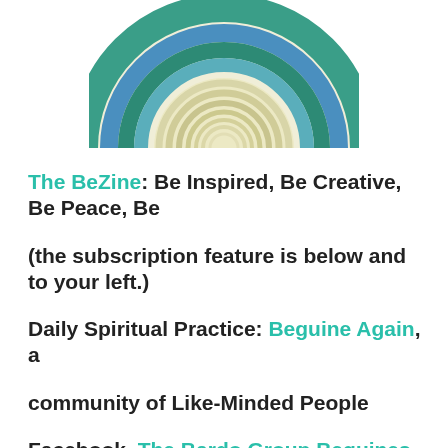[Figure (illustration): Circular swirl illustration with teal, blue, and cream/beige spiral pattern, partially cropped at top]
The BeZine: Be Inspired, Be Creative, Be Peace, Be (the subscription feature is below and to your left.)
Daily Spiritual Practice: Beguine Again, a community of Like-Minded People
Facebook, The Bardo Group Beguines
Twitter, The Bardo Group Beguines